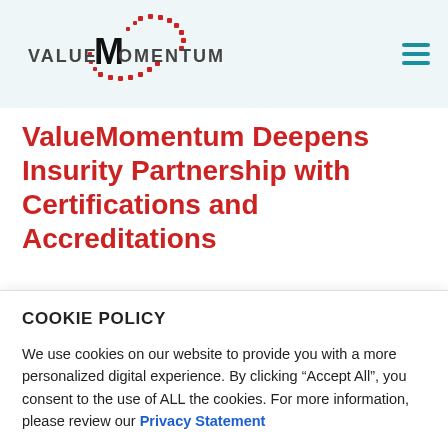ValueMomentum [logo] [hamburger menu]
ValueMomentum Deepens Insurity Partnership with Certifications and Accreditations
This partnership enhances ValueMomentum's
COOKIE POLICY
We use cookies on our website to provide you with a more personalized digital experience. By clicking “Accept All”, you consent to the use of ALL the cookies. For more information, please review our Privacy Statement
Cookie Settings | Accept All